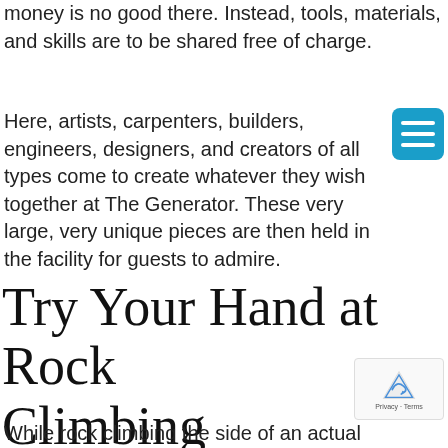money is no good there. Instead, tools, materials, and skills are to be shared free of charge.
Here, artists, carpenters, builders, engineers, designers, and creators of all types come to create whatever they wish together at The Generator. These very large, very unique pieces are then held in the facility for guests to admire.
Try Your Hand at Rock Climbing
While rock climbing the side of an actual